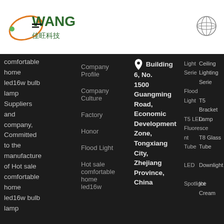[Figure (logo): WANG (佳旺科技) company logo with green and orange circular graphic on white header background]
[Figure (logo): Globe icon on right side of white header]
comfortable home led16w bulb lamp Suppliers and company, Committed to the manufacture of Hot sale comfortable home led16w bulb lamp
Company Profile
Company Culture
Factory
Honor
Flood Light
Hot sale comfortable home led16w
Building 6, No. 1500 Guangming Road, Economic Development Zone, Tongxiang City, Zhejiang Province, China
Light Serie
Flood Light
T5 LED Fluorescent Tube
LED Spotlight
Ceiling Lighting Serie
T5 Bracket Lamp
T8 Glass Tube
Downlight
Ice Cream